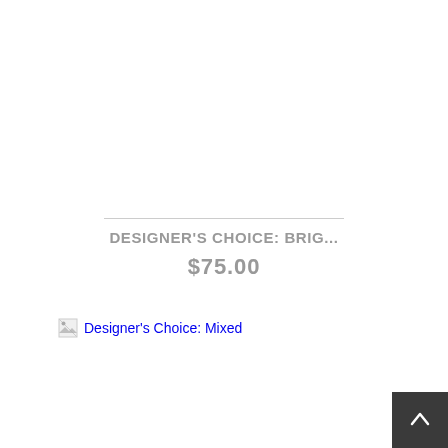DESIGNER'S CHOICE: BRIG...
$75.00
[Figure (other): Broken image placeholder for Designer's Choice: Mixed product image]
Designer's Choice: Mixed